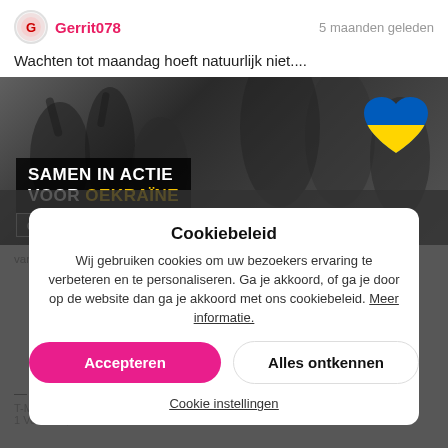Gerrit078   5 maanden geleden
Wachten tot maandag hoeft natuurlijk niet....
[Figure (screenshot): Banner image with crowd in black and white background, text overlay reading SAMEN IN ACTIE VOOR OEKRAÏNE with a Ukraine flag heart emoji, and a GEEF NU button]
Cookiebeleid
Wij gebruiken cookies om uw bezoekers ervaring te verbeteren en te personaliseren. Ga je akkoord, of ga je door op de website dan ga je akkoord met ons cookiebeleid. Meer informatie.
Accepteren
Alles ontkennen
Cookie instellingen
T-Mobile Thuis Actie Oekraïne | Nationale actief (Unlimited) | 1 Volt on 3, 2022